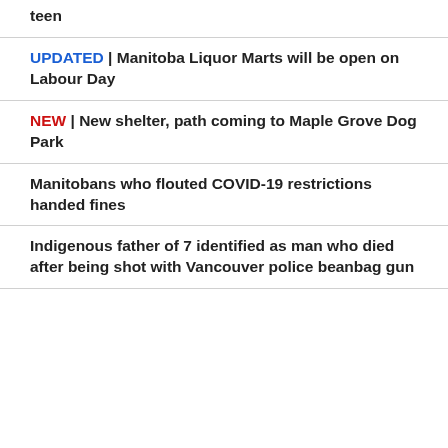teen
UPDATED | Manitoba Liquor Marts will be open on Labour Day
NEW | New shelter, path coming to Maple Grove Dog Park
Manitobans who flouted COVID-19 restrictions handed fines
Indigenous father of 7 identified as man who died after being shot with Vancouver police beanbag gun